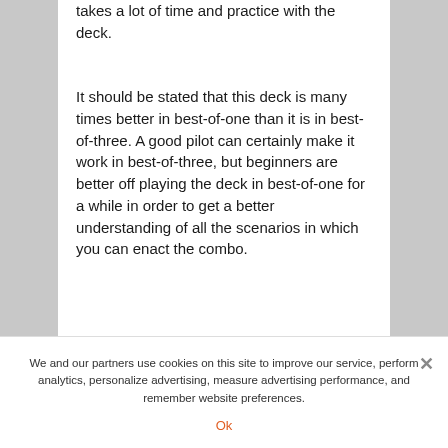takes a lot of time and practice with the deck.
It should be stated that this deck is many times better in best-of-one than it is in best-of-three. A good pilot can certainly make it work in best-of-three, but beginners are better off playing the deck in best-of-one for a while in order to get a better understanding of all the scenarios in which you can enact the combo.
We and our partners use cookies on this site to improve our service, perform analytics, personalize advertising, measure advertising performance, and remember website preferences.
Ok